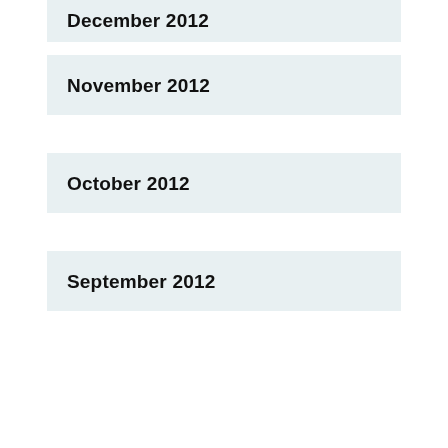December 2012
November 2012
October 2012
September 2012
August 2012
July 2012
June 2012
May 2012
April 2012